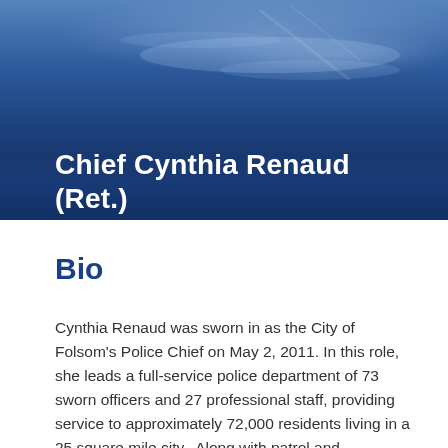[Figure (photo): Hero banner with blue waterscape/cityscape background photo with dark blue gradient overlay]
Chief Cynthia Renaud (Ret.)
Bio
Cynthia Renaud was sworn in as the City of Folsom's Police Chief on May 2, 2011. In this role, she leads a full-service police department of 73 sworn officers and 27 professional staff, providing service to approximately 72,000 residents living in a 25 square mile city.  Along with patrol and investigative functions, the Folsom Police